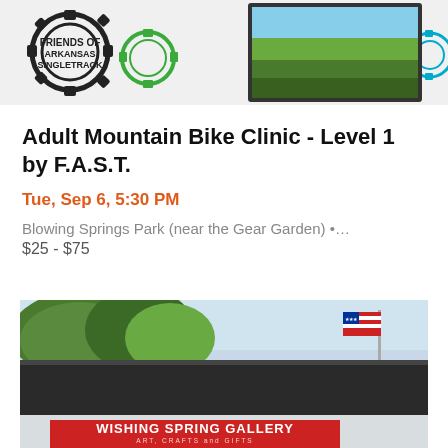[Figure (photo): FAST (Friends of Arkansas Singletrack) logo with gear icons on left, and a photo of green grass/trail area on the right, with a teal gear icon visible]
Adult Mountain Bike Clinic - Level 1 by F.A.S.T.
Tue, Sep 6, 5:30 PM
Blowing Springs Park (near the Gear Garden) •…
$25 - $75
[Figure (photo): Exterior photograph of Wishing Spring Gallery building with a red sign reading 'WISHING SPRING GALLERY - ART, CRAFTS and GIFTS', American flag on pole, dark roof, trees in background, stone base]